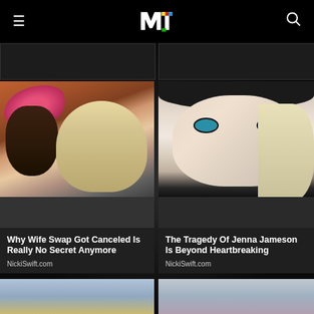MTV
[Figure (photo): Partial card image cropped at top left]
[Figure (photo): Partial card image cropped at top right]
[Figure (photo): Two people kissing, one wearing a pink cap - Why Wife Swap Got Canceled Is Really No Secret Anymore]
Why Wife Swap Got Canceled Is Really No Secret Anymore
NickiSwift.com
[Figure (photo): Close-up of a blonde woman with freckles and black beanie hat - The Tragedy Of Jenna Jameson Is Beyond Heartbreaking]
The Tragedy Of Jenna Jameson Is Beyond Heartbreaking
NickiSwift.com
[Figure (photo): Partial bottom card image left]
[Figure (photo): Partial bottom card image right]